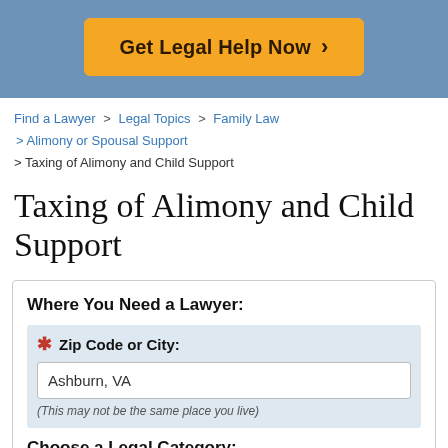[Figure (other): Blue banner with orange 'Get Legal Help Now >' button]
Find a Lawyer > Legal Topics > Family Law > Alimony or Spousal Support > Taxing of Alimony and Child Support
Taxing of Alimony and Child Support
Where You Need a Lawyer:
* Zip Code or City:
Ashburn, VA
(This may not be the same place you live)
Choose a Legal Category: